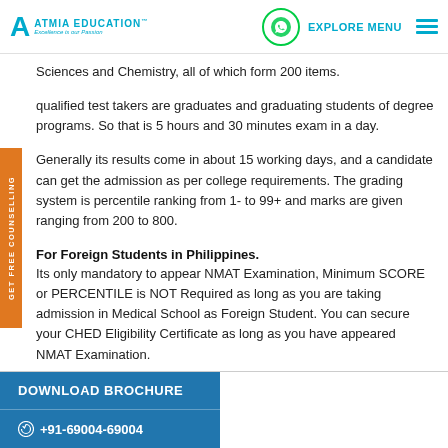ATMIA EDUCATION - Excellence is our Passion | EXPLORE MENU
Sciences and Chemistry, all of which form 200 items.
qualified test takers are graduates and graduating students of degree programs. So that is 5 hours and 30 minutes exam in a day.
Generally its results come in about 15 working days, and a candidate can get the admission as per college requirements. The grading system is percentile ranking from 1- to 99+ and marks are given ranging from 200 to 800.
For Foreign Students in Philippines.
Its only mandatory to appear NMAT Examination, Minimum SCORE or PERCENTILE is NOT Required as long as you are taking admission in Medical School as Foreign Student. You can secure your CHED Eligibility Certificate as long as you have appeared NMAT Examination.
DOWNLOAD BROCHURE | +91-69004-69004